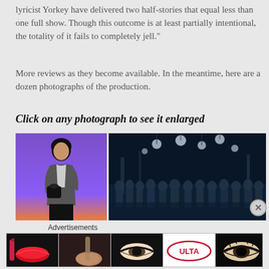lyricist Yorkey have delivered two half-stories that equal less than one full show. Though this outcome is at least partially intentional, the totality of it fails to completely jell."
More reviews as they become available. In the meantime, here are a dozen photographs of the production.
Click on any photograph to see it enlarged
[Figure (photo): Actress standing on stage against a purple/orange background, wearing a grey blazer and holding a black purse]
[Figure (photo): Wide ensemble stage shot with blue lighting and hanging globe lights, performers visible across the stage]
Advertisements
[Figure (photo): Beauty advertisement banner showing makeup products and faces - includes ULTA branding and 'SHOP NOW' text]